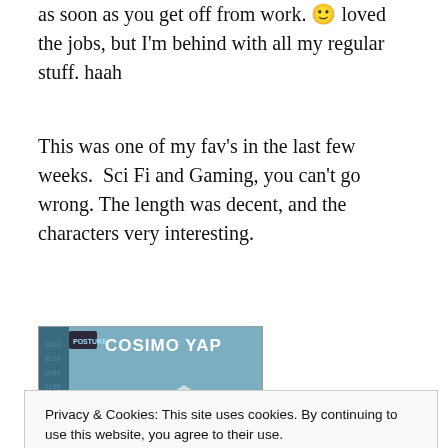as soon as you get off from work. 🙂 loved the jobs, but I'm behind with all my regular stuff. haah
This was one of my fav's in the last few weeks.  Sci Fi and Gaming, you can't go wrong. The length was decent, and the characters very interesting.
[Figure (illustration): Book cover image showing 'COSIMO YAP' by Posture publisher, with 3D metallic cube shapes on a blue binary/digital background, with a quote reading 'Like Alterworld when it was still good' - Amazon Review]
Privacy & Cookies: This site uses cookies. By continuing to use this website, you agree to their use.
To find out more, including how to control cookies, see here: Cookie Policy
Close and accept
UNABRIDGED